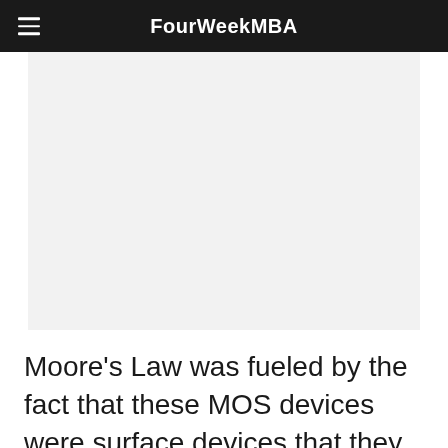FourWeekMBA
[Figure (other): Advertisement or placeholder image area with light gray background]
Moore's Law was fueled by the fact that these MOS devices were surface devices that they could